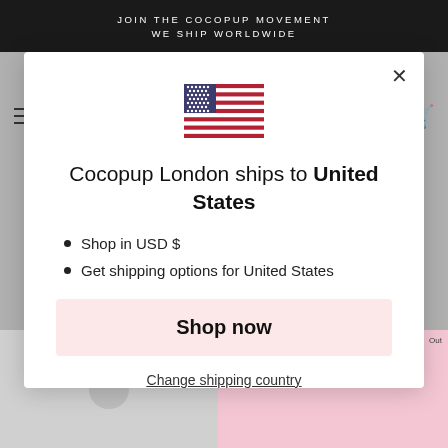JOIN THE COCOPUP MOVEMENT
WE SHIP WORLDWIDE
[Figure (screenshot): E-commerce website background showing navigation icons and product images]
[Figure (illustration): United States flag emoji/icon]
Cocopup London ships to United States
Shop in USD $
Get shipping options for United States
Shop now
Change shipping country